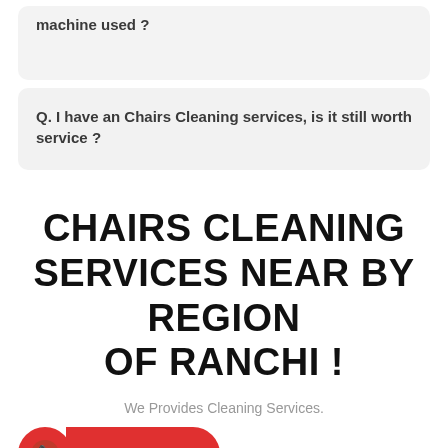machine used ?
Q. I have an Chairs Cleaning services, is it still worth service ?
CHAIRS CLEANING SERVICES NEAR BY REGION OF RANCHI !
We Provides Cleaning Services.
CALL US NOW
...